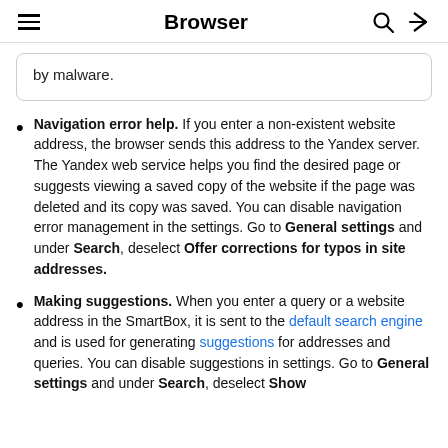Browser
by malware.
Navigation error help. If you enter a non-existent website address, the browser sends this address to the Yandex server. The Yandex web service helps you find the desired page or suggests viewing a saved copy of the website if the page was deleted and its copy was saved. You can disable navigation error management in the settings. Go to General settings and under Search, deselect Offer corrections for typos in site addresses.
Making suggestions. When you enter a query or a website address in the SmartBox, it is sent to the default search engine and is used for generating suggestions for addresses and queries. You can disable suggestions in settings. Go to General settings and under Search, deselect Show